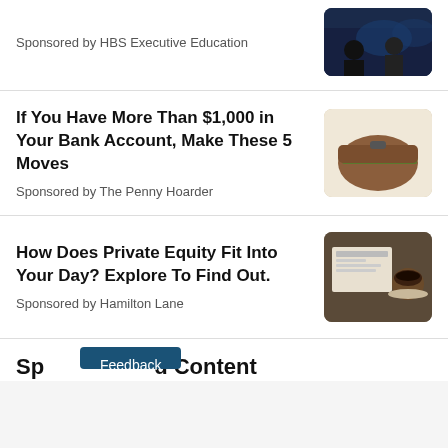Sponsored by HBS Executive Education
If You Have More Than $1,000 in Your Bank Account, Make These 5 Moves
Sponsored by The Penny Hoarder
How Does Private Equity Fit Into Your Day? Explore To Find Out.
Sponsored by Hamilton Lane
Sponsored Content